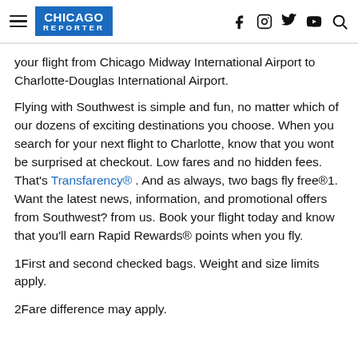CHICAGO REPORTER
your flight from Chicago Midway International Airport to Charlotte-Douglas International Airport.
Flying with Southwest is simple and fun, no matter which of our dozens of exciting destinations you choose. When you search for your next flight to Charlotte, know that you wont be surprised at checkout. Low fares and no hidden fees. That's Transfarency® . And as always, two bags fly free®1. Want the latest news, information, and promotional offers from Southwest? from us. Book your flight today and know that you'll earn Rapid Rewards® points when you fly.
1First and second checked bags. Weight and size limits apply.
2Fare difference may apply.